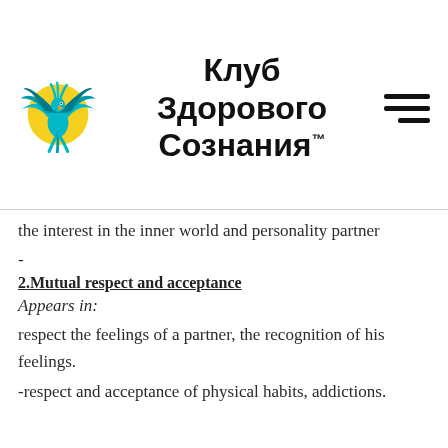Клуб Здорового Сознания™
the interest in the inner world and personality partner
-
2.Mutual respect and acceptance
Appears in:
respect the feelings of a partner, the recognition of his feelings.
-respect and acceptance of physical habits, addictions.